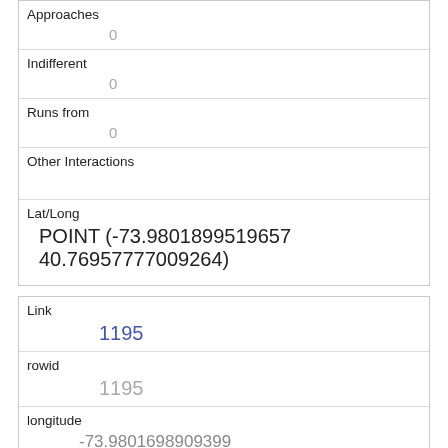| Approaches | 0 |
| Indifferent | 0 |
| Runs from | 0 |
| Other Interactions |  |
| Lat/Long | POINT (-73.9801899519657 40.76957770009264) |
| Link | 1195 |
| rowid | 1195 |
| longitude | -73.9801698909399 |
| latitude | 40.7683721553321 |
| Unique Squirrel ID | 2B-AM-1010-04 |